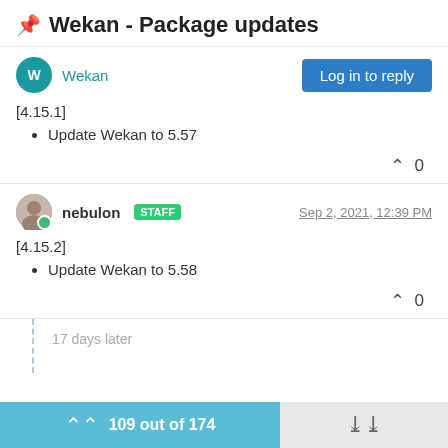📌 Wekan - Package updates
Wekan
[4.15.1]
Update Wekan to 5.57
0
nebulon STAFF Sep 2, 2021, 12:39 PM
[4.15.2]
Update Wekan to 5.58
0
17 days later
109 out of 174